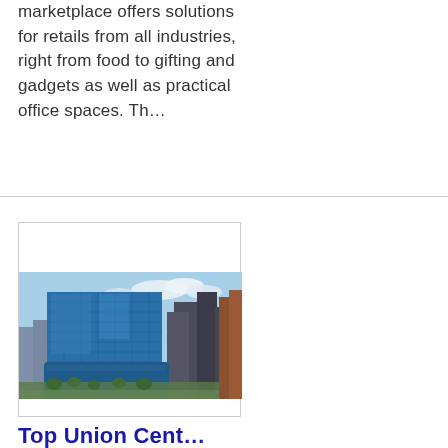marketplace offers solutions for retails from all industries, right from food to gifting and gadgets as well as practical office spaces. Th...
[Figure (photo): Aerial view of a modern urban commercial complex featuring a large glass-facade blue building surrounded by other city high-rises under a partly cloudy sky.]
Top Union Cent...